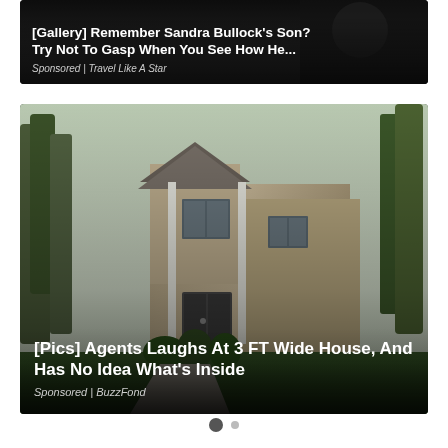[Figure (photo): Dark background image (partial, top-cropped) with white bold text overlay advertising a gallery article about Sandra Bullock's son]
[Gallery] Remember Sandra Bullock's Son? Try Not To Gasp When You See How He...
Sponsored | Travel Like A Star
[Figure (photo): Photograph of a narrow two-story house with beige/gray siding, white trim columns, dark front door, surrounded by trees, green lawn]
[Pics] Agents Laughs At 3 FT Wide House, And Has No Idea What's Inside
Sponsored | BuzzFond